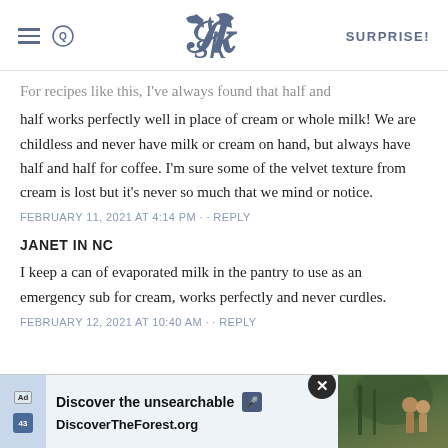SK | SURPRISE!
For recipes like this, I've always found that half and half works perfectly well in place of cream or whole milk! We are childless and never have milk or cream on hand, but always have half and half for coffee. I'm sure some of the velvet texture from cream is lost but it's never so much that we mind or notice.
FEBRUARY 11, 2021 AT 4:14 PM · · REPLY
JANET IN NC
I keep a can of evaporated milk in the pantry to use as an emergency sub for cream, works perfectly and never curdles.
FEBRUARY 12, 2021 AT 10:40 AM · · REPLY
[Figure (screenshot): Advertisement banner at bottom: 'Discover the unsearchable' and 'DiscoverTheForest.org' with a photo of hikers in a forest, close button in top right]